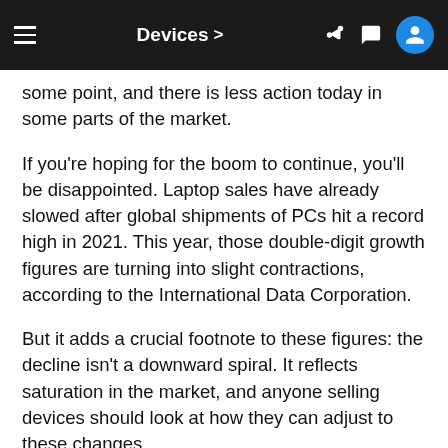Devices >
some point, and there is less action today in some parts of the market.
If you're hoping for the boom to continue, you'll be disappointed. Laptop sales have already slowed after global shipments of PCs hit a record high in 2021. This year, those double-digit growth figures are turning into slight contractions, according to the International Data Corporation.
But it adds a crucial footnote to these figures: the decline isn't a downward spiral. It reflects saturation in the market, and anyone selling devices should look at how they can adjust to these changes.
I want to unpack that a little more. Where are the opportunities? What should we in the channel —